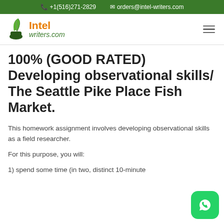+1(516)271-2829   orders@intel-writers.com
[Figure (logo): Intel writers.com logo with quill and ink icon]
100% (GOOD RATED) Developing observational skills/ The Seattle Pike Place Fish Market.
This homework assignment involves developing observational skills as a field researcher.
For this purpose, you will:
1) spend some time (in two, distinct 10-minute